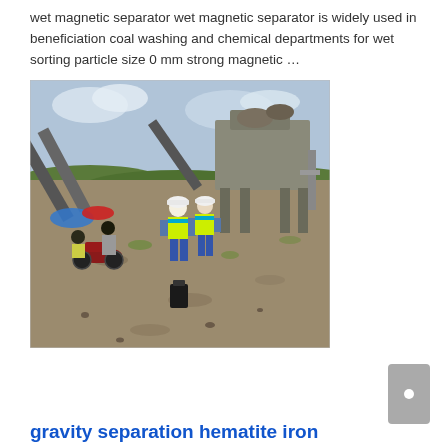wet magnetic separator wet magnetic separator is widely used in beneficiation coal washing and chemical departments for wet sorting particle size 0 mm strong magnetic …
[Figure (photo): Outdoor mining/quarry site showing industrial crushing and conveyor equipment in the background. In the foreground, workers in yellow high-visibility vests and hard hats stand on a gravel/rocky ground. A motorcycle with riders is visible on the left side. A blue tarp/umbrella is visible on the left. Overcast sky.]
gravity separation hematite iron